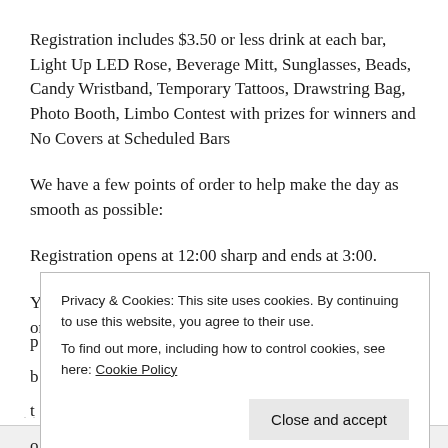Registration includes $3.50 or less drink at each bar, Light Up LED Rose, Beverage Mitt, Sunglasses, Beads, Candy Wristband, Temporary Tattoos, Drawstring Bag, Photo Booth, Limbo Contest with prizes for winners and No Covers at Scheduled Bars
We have a few points of order to help make the day as smooth as possible:
Registration opens at 12:00 sharp and ends at 3:00.
You will need to bring either a printed Eventbrite ticket or show the app on your phone. If you don't have a
Privacy & Cookies: This site uses cookies. By continuing to use this website, you agree to their use.
To find out more, including how to control cookies, see here: Cookie Policy
Close and accept